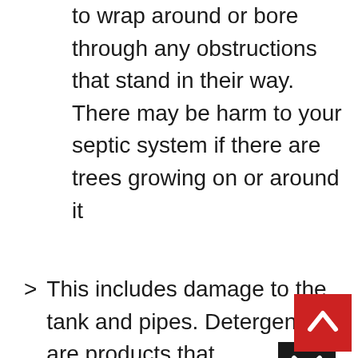to wrap around or bore through any obstructions that stand in their way. There may be harm to your septic system if there are trees growing on or around it
This includes damage to the tank and pipes. Detergents are products that
an
in
[Figure (other): Black close/dismiss button with white X icon (modal close button)]
[Figure (other): Red scroll-to-top button with white upward chevron/caret icon]